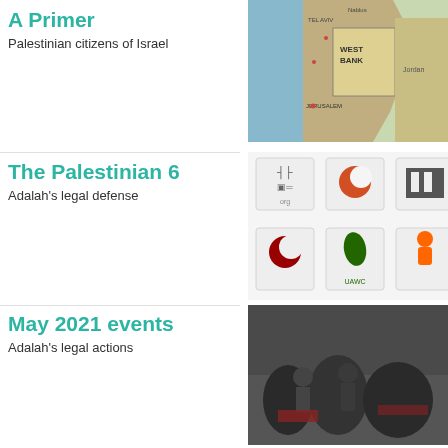A Primer
Palestinian citizens of Israel
[Figure (map): Map showing West Bank and surrounding region]
The Palestinian 6
Adalah's legal defense
[Figure (illustration): Six organization logos]
May 2021 events
Adalah's legal actions
[Figure (photo): People at a scene, police/security forces visible]
COVID-19 News
Adalah's legal actions
[Figure (photo): Coronavirus particle model in red and grey]
Nation-State Law
Enshrining Jewish supremacy
[Figure (photo): Black and white abstract photo]
apartheid characteris
[Figure (photo): Dark image with white text 'NA' visible]
The Israeli Knesset v
Nation-State Basic La
the State of Israel as
This law, which